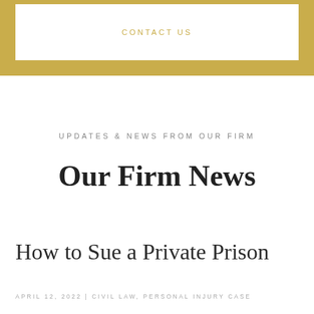CONTACT US
UPDATES & NEWS FROM OUR FIRM
Our Firm News
How to Sue a Private Prison
APRIL 12, 2022 | CIVIL LAW, PERSONAL INJURY CASE